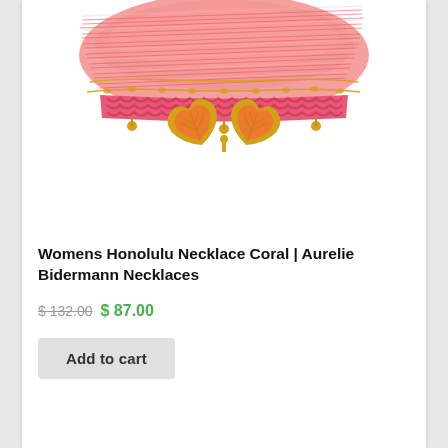[Figure (photo): Close-up photo of a Womens Honolulu Necklace Coral by Aurelie Bidermann. The necklace features coral/pink multi-strand twisted threads, gold chain accents, pink macrame braided section with gold bead dangles, and two gold ginkgo leaf charms with orange enamel at the center bottom.]
Womens Honolulu Necklace Coral | Aurelie Bidermann Necklaces
$ 132.00 $ 87.00
Add to cart